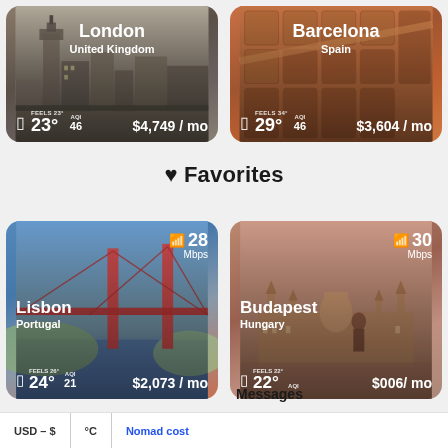[Figure (photo): London city card with Big Ben, United Kingdom. Feels 23°, 23°, AQI 46, $4,749/mo]
[Figure (photo): Barcelona aerial city card, Spain. Feels 34°, 29°, AQI 46, $3,604/mo]
❤ Favorites
[Figure (photo): Lisbon city card with bridge, Portugal. 28 Mbps WiFi, Feels 26°, 24°, AQI 21, $2,073/mo]
[Figure (photo): Budapest city card with parliament, Hungary. 30 Mbps WiFi, Feels 22°, 22°, AQI shown, $006/mo (partially visible)]
Messages
USD – $   °C   Nomad cost